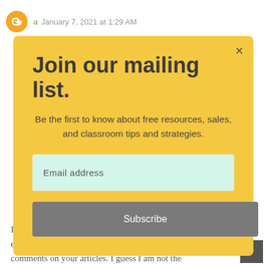a  January 7, 2021 at 1:29 AM
Join our mailing list.
Be the first to know about free resources, sales, and classroom tips and strategies.
Email address
Subscribe
I found so many interesting stuff in yo... g especially its discussion. From the t... of comments on your articles. I guess I am not the